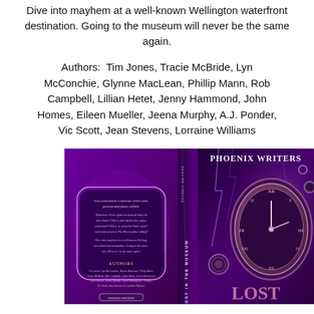Dive into mayhem at a well-known Wellington waterfront destination. Going to the museum will never be the same again.
Authors:  Tim Jones, Tracie McBride, Lyn McConchie, Glynne MacLean, Phillip Mann, Rob Campbell, Lillian Hetet, Jenny Hammond, John Homes, Eileen Mueller, Jeena Murphy, A.J. Ponder, Vic Scott, Jean Stevens, Lorraine Williams
[Figure (photo): Book cover image for 'Lost in the Museum' by Phoenix Writers, showing a steampunk-themed design with a large ornate clock, gears, lightning, and purple atmospheric styling. The spine reads 'LOST IN THE MUSEUM' and the publisher is PHOENIX WRITERS.]